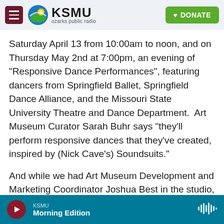KSMU ozarks public radio | DONATE
Saturday April 13 from 10:00am to noon, and on Thursday May 2nd at 7:00pm, an evening of "Responsive Dance Performances", featuring dancers from Springfield Ballet, Springfield Dance Alliance, and the Missouri State University Theatre and Dance Department.  Art Museum Curator Sarah Buhr says "they'll perform responsive dances that they've created, inspired by (Nick Cave's) Soundsuits."
And while we had Art Museum Development and Marketing Coordinator Joshua Best in the studio, it seemed appropriate to bring up another museum
KSMU | Morning Edition